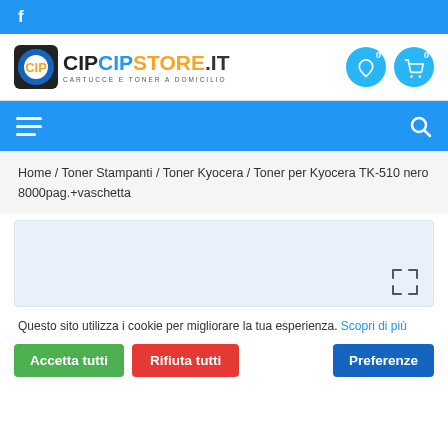f
[Figure (logo): CipCipStore.it logo — cartucce e toner a domicilio]
[Figure (screenshot): Navigation bar with hamburger menu and search icon on blue background]
Home / Toner Stampanti / Toner Kyocera / Toner per Kyocera TK-510 nero 8000pag.+vaschetta
[Figure (photo): Product image area (empty/loading) with expand/fullscreen icon]
Questo sito utilizza i cookie per migliorare la tua esperienza. Scopri di più
Accetta tutti
Rifiuta tutti
Preferenze